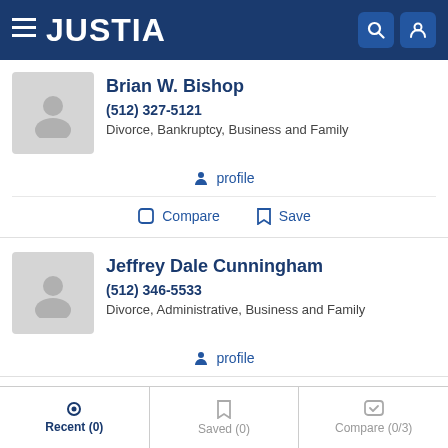JUSTIA
Brian W. Bishop
(512) 327-5121
Divorce, Bankruptcy, Business and Family
profile
Compare  Save
Jeffrey Dale Cunningham
(512) 346-5533
Divorce, Administrative, Business and Family
profile
Recent (0)  Saved (0)  Compare (0/3)